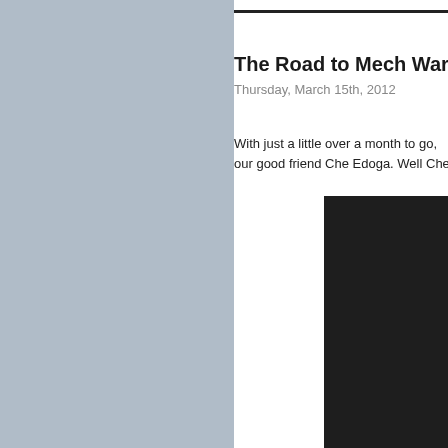The Road to Mech Warfare
Thursday, March 15th, 2012
With just a little over a month to go, our good friend Che Edoga. Well Che
[Figure (photo): Dark/black photo partially visible on the right side of the page]